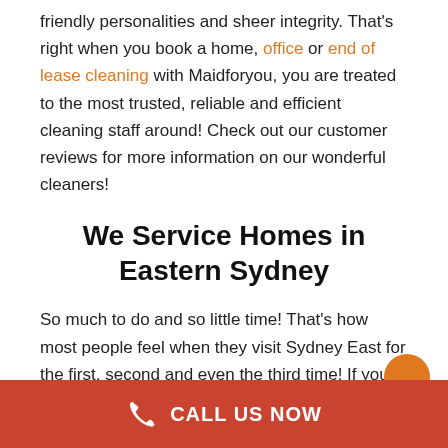friendly personalities and sheer integrity. That's right when you book a home, office or end of lease cleaning with Maidforyou, you are treated to the most trusted, reliable and efficient cleaning staff around! Check out our customer reviews for more information on our wonderful cleaners!
We Service Homes in Eastern Sydney
So much to do and so little time! That's how most people feel when they visit Sydney East for the first, second and even the third time! If you're not in town to attend a major event at the Allianz Stadium in Moore Park or Sydney
CALL US NOW